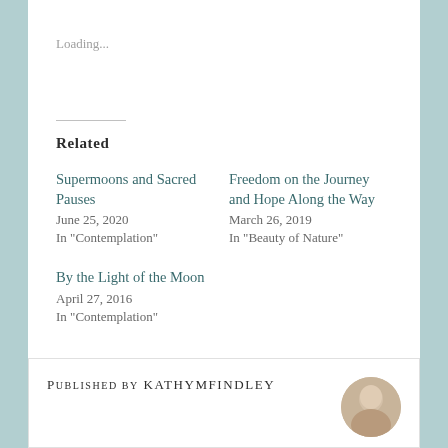Loading...
Related
Supermoons and Sacred Pauses
June 25, 2020
In "Contemplation"
Freedom on the Journey and Hope Along the Way
March 26, 2019
In "Beauty of Nature"
By the Light of the Moon
April 27, 2016
In "Contemplation"
PUBLISHED BY KATHYMFINDLEY